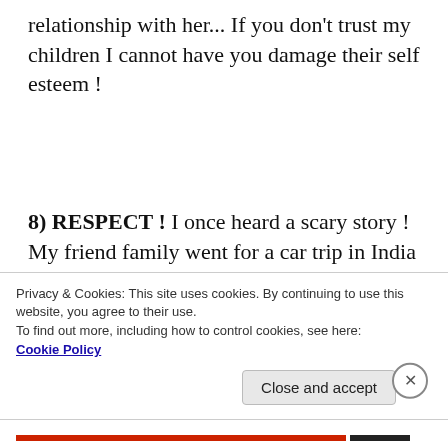relationship with her... If you don't trust my children I cannot have you damage their self esteem !
8) RESPECT ! I once heard a scary story ! My friend family went for a car trip in India with another relatives family. It was a long journey and they had to make several stops because one of the kid's wanted to poop frequently. The father got
Privacy & Cookies: This site uses cookies. By continuing to use this website, you agree to their use.
To find out more, including how to control cookies, see here:
Cookie Policy
Close and accept